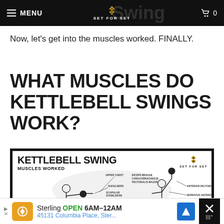MENU | SET FOR SET | 0
Now, let's get into the muscles worked. FINALLY.
WHAT MUSCLES DO KETTLEBELL SWINGS WORK?
[Figure (infographic): Kettlebell Swing Muscles Worked infographic from Set For Set, showing a figure holding a kettlebell with labeled muscle groups: Upper Chest, Biceps Brachii, Coracobrachialis, Pectoralis Major, Shoulders, Scapular Stabilizers, Erector Spinae, Forearms and Hands, Core, Anterior Deltoids, Serratus Anterior]
Sterling OPEN 6AM-12AM 45131 Columbia Place, Ster...